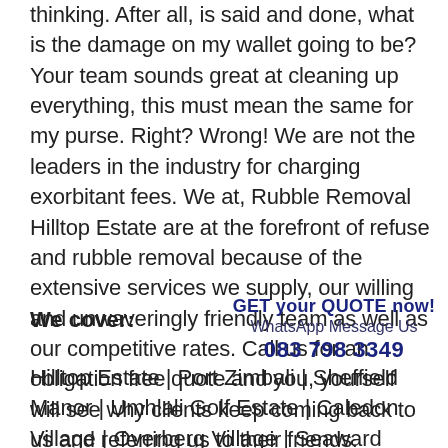thinking. After all, is said and done, what is the damage on my wallet going to be? Your team sounds great at cleaning up everything, this must mean the same for my purse. Right? Wrong! We are not the leaders in the industry for charging exorbitant fees. We at, Rubble Removal Hilltop Estate are at the forefront of refuse and rubble removal because of the extensive services we supply, our willing and unwaveringly friendly team as well as our competitive rates. Call us for an obligation free quote and you, yourself will see why clients keep coming back to us and referring us to their friends.
We cover:
GET your QUOTE now!
WhatsApp Message Us
083 798 3349
Hilltop Estate | Port Zimbali | Sheffield Manor | Umhlali Golf Estate | Caledon Village | Overberg Village | Seaward Estate | Shortens Country Lodge | Willard Beach | Dunkirk Estate | Palm Lakes Estates |